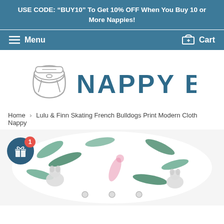USE CODE: “BUY10” To Get 10% OFF When You Buy 10 or More Nappies!
Menu  Cart
[Figure (logo): Nappy Box Co logo: diaper/nappy outline illustration next to bold teal text 'NAPPY BOX CO']
Home › Lulu & Finn Skating French Bulldogs Print Modern Cloth Nappy
[Figure (photo): Close-up of a cloth nappy with a French bulldog skating tropical print pattern in teal, pink and white. A dark teal circle gift icon button with a red badge showing '1' overlays the bottom-left corner.]